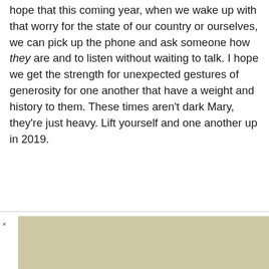hope that this coming year, when we wake up with that worry for the state of our country or ourselves, we can pick up the phone and ask someone how they are and to listen without waiting to talk. I hope we get the strength for unexpected gestures of generosity for one another that have a weight and history to them. These times aren't dark Mary, they're just heavy. Lift yourself and one another up in 2019.